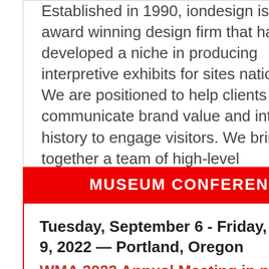Established in 1990, iondesign is an award winning design firm that has developed a niche in producing interpretive exhibits for sites nationwide. We are positioned to help clients communicate brand value and interpret history to engage visitors. We bring together a team of high-level professionals for every project to create a strategic partnership with you to support your mission.
www.iondesignworks.com
MUSEUM CONFERENCES
Tuesday, September 6 - Friday, September 9, 2022 — Portland, Oregon
WMA 2022 Annual Meeting in partnership with the Oregon Museums Association
Western Museums Association